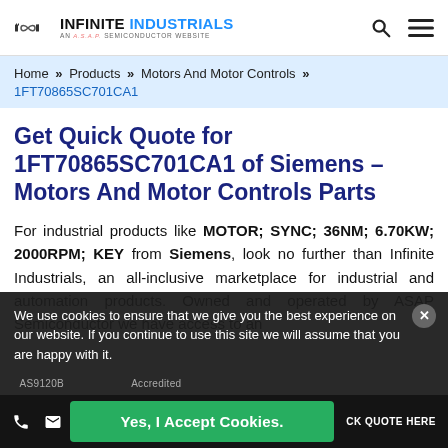INFINITE INDUSTRIALS — AN A.S.A.P. SEMICONDUCTOR WEBSITE
Home » Products » Motors And Motor Controls » 1FT70865SC701CA1
Get Quick Quote for 1FT70865SC701CA1 of Siemens – Motors And Motor Controls Parts
For industrial products like MOTOR; SYNC; 36NM; 6.70KW; 2000RPM; KEY from Siemens, look no further than Infinite Industrials, an all-inclusive marketplace for industrial and automation products. Owned and operated by ASAP Semiconductor we have access to an
We use cookies to ensure that we give you the best experience on our website. If you continue to use this site we will assume that you are happy with it.
Yes, I Accept Cookies.